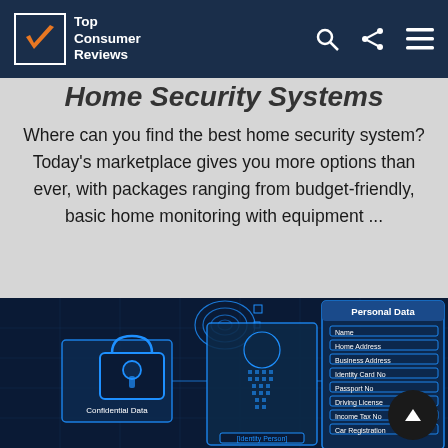Top Consumer Reviews
Home Security Systems
Where can you find the best home security system? Today's marketplace gives you more options than ever, with packages ranging from budget-friendly, basic home monitoring with equipment ...
[Figure (illustration): Digital security concept image showing a blue-toned dark background with a human silhouette made of data, a padlock labeled 'Confidential Data', fingerprint scanner, and a 'Personal Data' panel listing fields: Name, Home Address, Business Address, Identity Card No, Passport No, Driving License, Income Tax No, Car Registration. Also shows an '[Identity Person]' label at the bottom center.]